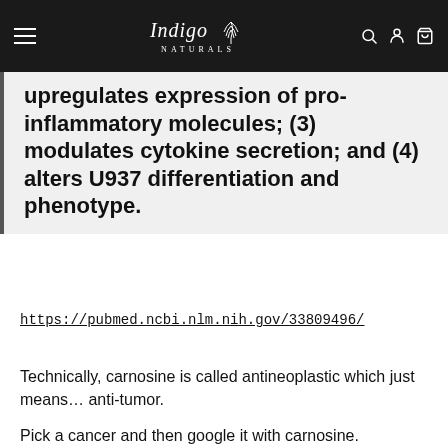Indigo Naturals
upregulates expression of pro-inflammatory molecules; (3) modulates cytokine secretion; and (4) alters U937 differentiation and phenotype.
https://pubmed.ncbi.nlm.nih.gov/33809496/
Technically, carnosine is called antineoplastic which just means… anti-tumor.
Pick a cancer and then google it with carnosine.